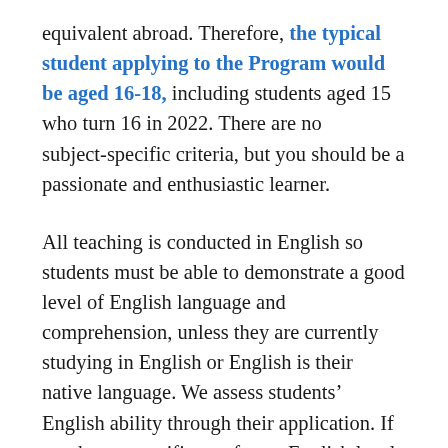equivalent abroad. Therefore, the typical student applying to the Program would be aged 16–18, including students aged 15 who turn 16 in 2022. There are no subject-specific criteria, but you should be a passionate and enthusiastic learner.
All teaching is conducted in English so students must be able to demonstrate a good level of English language and comprehension, unless they are currently studying in English or English is their native language. We assess students' English ability through their application. If you have a certificate of your English level, you are encouraged to provide it, but we do not require any certificate. Your level